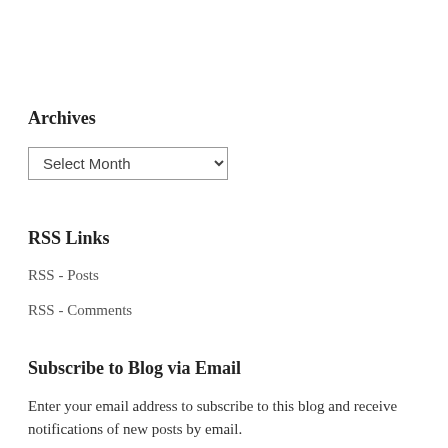Archives
Select Month
RSS Links
RSS - Posts
RSS - Comments
Subscribe to Blog via Email
Enter your email address to subscribe to this blog and receive notifications of new posts by email.